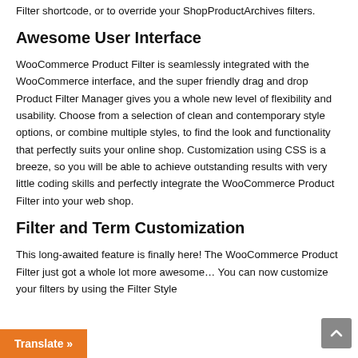Filter shortcode, or to override your ShopProductArchives filters.
Awesome User Interface
WooCommerce Product Filter is seamlessly integrated with the WooCommerce interface, and the super friendly drag and drop Product Filter Manager gives you a whole new level of flexibility and usability. Choose from a selection of clean and contemporary style options, or combine multiple styles, to find the look and functionality that perfectly suits your online shop. Customization using CSS is a breeze, so you will be able to achieve outstanding results with very little coding skills and perfectly integrate the WooCommerce Product Filter into your web shop.
Filter and Term Customization
This long-awaited feature is finally here! The WooCommerce Product Filter just got a whole lot more awesome… You can now customize your filters by using the Filter Style